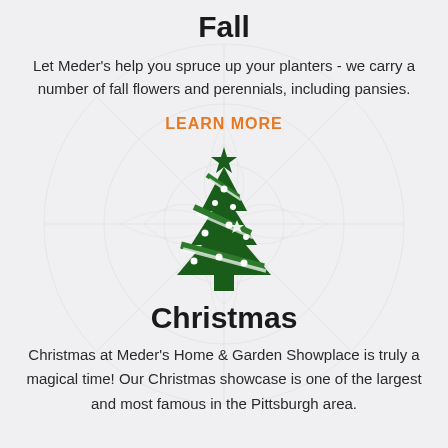Fall
Let Meder’s help you spruce up your planters - we carry a number of fall flowers and perennials, including pansies.
LEARN MORE
[Figure (illustration): Dark green Christmas tree icon with decorative diagonal stripe lines and small star/dot ornaments, star on top, and a rectangular trunk at the bottom.]
Christmas
Christmas at Meder’s Home & Garden Showplace is truly a magical time! Our Christmas showcase is one of the largest and most famous in the Pittsburgh area.